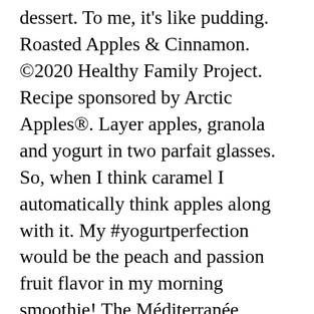dessert. To me, it's like pudding. Roasted Apples & Cinnamon. ©2020 Healthy Family Project. Recipe sponsored by Arctic Apples®. Layer apples, granola and yogurt in two parfait glasses. So, when I think caramel I automatically think apples along with it. My #yogurtperfection would be the peach and passion fruit flavor in my morning smoothie! The Méditerranée Strawberry looks like yogurt perfection! Hi! The Méditerranée Caramel looks absolutely delicious. 1/4 tsp salt. I would love to try the Méditerranée Blackberry. YUM! Salted Caramel Yogurt Parfait with Apples. Stir and...","url":"https:\/\/www.turningclockback.com apple-yogurt-parfait-